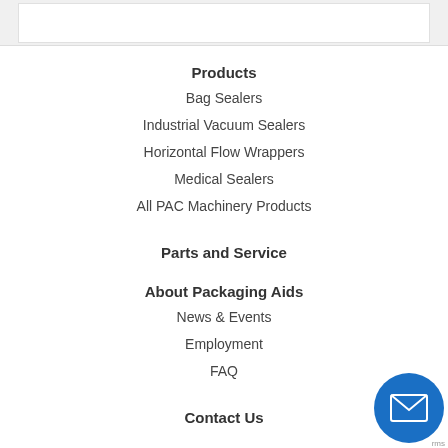Products
Bag Sealers
Industrial Vacuum Sealers
Horizontal Flow Wrappers
Medical Sealers
All PAC Machinery Products
Parts and Service
About Packaging Aids
News & Events
Employment
FAQ
Contact Us